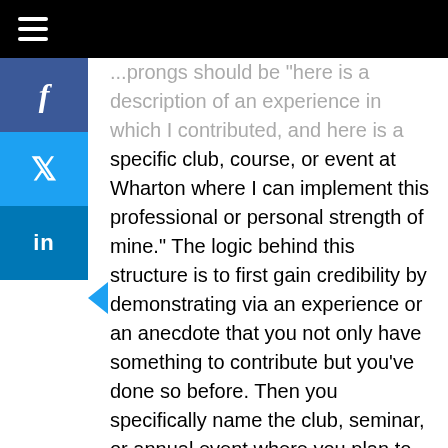experience in which I contributed, and here is a specific club, course, or event at Wharton where I can implement this professional or personal strength of mine.” The logic behind this structure is to first gain credibility by demonstrating via an experience or an anecdote that you not only have something to contribute but you’ve done so before. Then you specifically name the club, seminar, or annual event where you plan to implement your strengths. Are you going to lead a club? Are you going to bring a guest lecturer as a keynote speaker to an event? Are you planning to start your own initiative based off of a cause that is important to you?